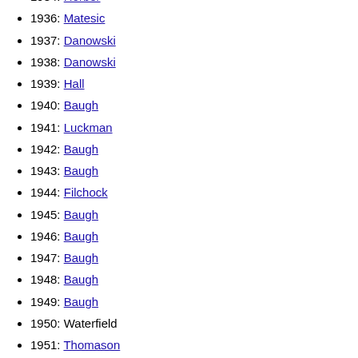1934: Herber
1936: Matesic
1937: Danowski
1938: Danowski
1939: Hall
1940: Baugh
1941: Luckman
1942: Baugh
1943: Baugh
1944: Filchock
1945: Baugh
1946: Baugh
1947: Baugh
1948: Baugh
1949: Baugh
1950: Waterfield
1951: Thomason
1952: Van Brocklin
1953: Graham
1954: Graham
1955: Graham & Layne
1956: Brown
1957: Tittle
1958: Brodie
1959: Plum & Wade